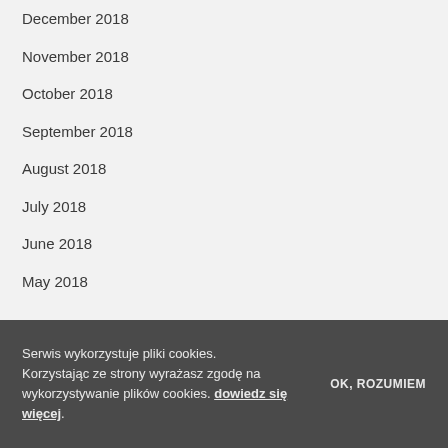December 2018
November 2018
October 2018
September 2018
August 2018
July 2018
June 2018
May 2018
Serwis wykorzystuje pliki cookies. Korzystając ze strony wyrażasz zgodę na wykorzystywanie plików cookies. dowiedz się więcej.